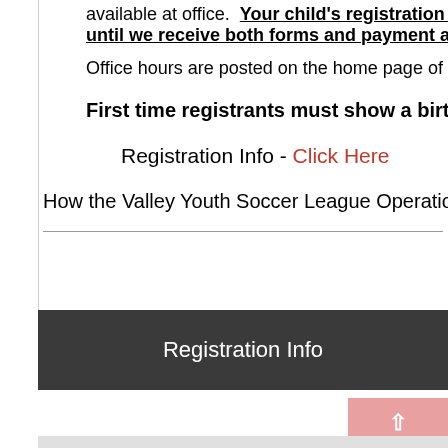available at office.  Your child's registration is not
until we receive both forms and payment at the
Office hours are posted on the home page of the w
First time registrants must show a birth certi
Registration Info - Click Here
How the Valley Youth Soccer League Operations: C
Registration Info
[Figure (other): Pink scroll-to-top button with upward arrow]